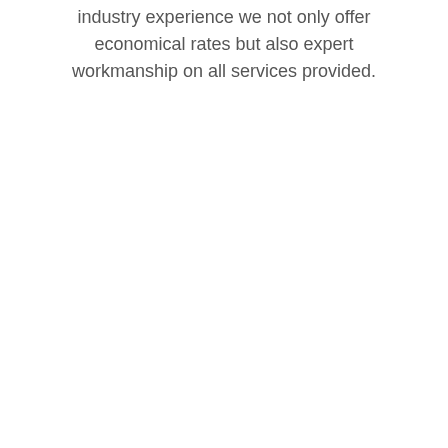industry experience we not only offer economical rates but also expert workmanship on all services provided.